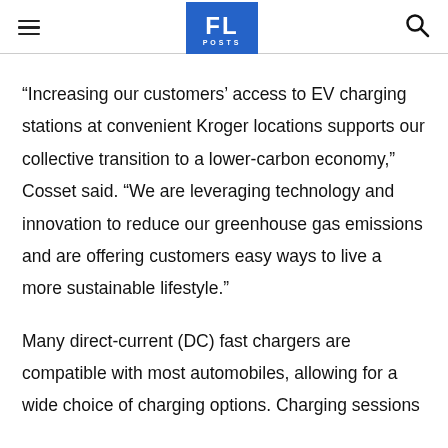FL POSTS
“Increasing our customers’ access to EV charging stations at convenient Kroger locations supports our collective transition to a lower-carbon economy,” Cosset said. “We are leveraging technology and innovation to reduce our greenhouse gas emissions and are offering customers easy ways to live a more sustainable lifestyle.”
Many direct-current (DC) fast chargers are compatible with most automobiles, allowing for a wide choice of charging options. Charging sessions